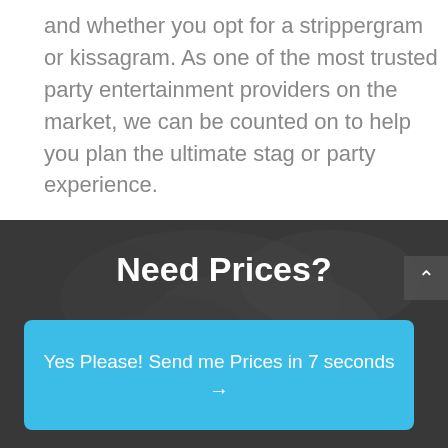and whether you opt for a strippergram or kissagram. As one of the most trusted party entertainment providers on the market, we can be counted on to help you plan the ultimate stag or party experience.
[Figure (photo): Grayscale background photo of a person, partially visible, serving as backdrop for a call-to-action overlay.]
Need Prices?
Yes Please! Send me Prices in 7 seconds →